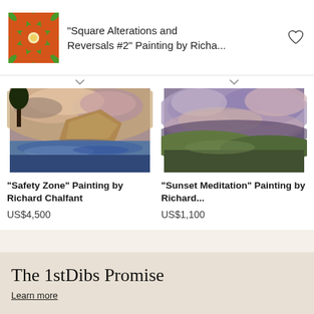"Square Alterations and Reversals #2" Painting by Richa...
[Figure (photo): Landscape painting showing a river scene with dramatic cliffs and clouds - Safety Zone by Richard Chalfant]
"Safety Zone" Painting by Richard Chalfant
US$4,500
[Figure (photo): Landscape painting showing purple-toned stormy clouds over rolling hills - Sunset Meditation by Richard]
"Sunset Meditation" Painting by Richard...
US$1,100
VIEW MORE
The 1stDibs Promise
Learn more